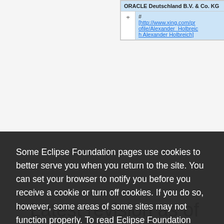| ORACLE Deutschland B.V. & Co. KG |
| #
[http://www.xing.com/profile/Alexander_Holbreich Alexander Holbreich] |
Some Eclipse Foundation pages use cookies to better serve you when you return to the site. You can set your browser to notify you before you receive a cookie or turn off cookies. If you do so, however, some areas of some sites may not function properly. To read Eclipse Foundation Privacy Policy
click here.
Decline
Allow cookies
Latest revision as of